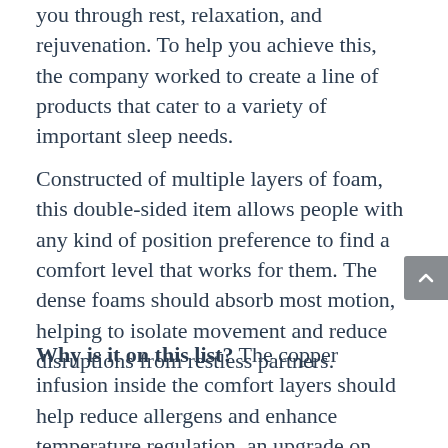you through rest, relaxation, and rejuvenation. To help you achieve this, the company worked to create a line of products that cater to a variety of important sleep needs.
Constructed of multiple layers of foam, this double-sided item allows people with any kind of position preference to find a comfort level that works for them. The dense foams should absorb most motion, helping to isolate movement and reduce disruptions from restless partners.
Why is it on this list? The copper infusion inside the comfort layers should help reduce allergens and enhance temperature regulation, an upgrade on traditional memory products. The dual-sided design allows…